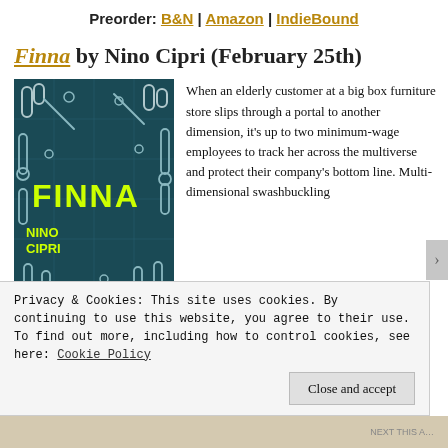Preorder: B&N | Amazon | IndieBound
Finna by Nino Cipri (February 25th)
[Figure (illustration): Book cover of Finna by Nino Cipri — dark teal background with white pipe/tube maze illustrations and bold yellow-green text reading FINNA and NINO CIPRI]
When an elderly customer at a big box furniture store slips through a portal to another dimension, it’s up to two minimum-wage employees to track her across the multiverse and protect their company’s bottom line. Multi-dimensional swashbuckling
Privacy & Cookies: This site uses cookies. By continuing to use this website, you agree to their use.
To find out more, including how to control cookies, see here: Cookie Policy
Close and accept